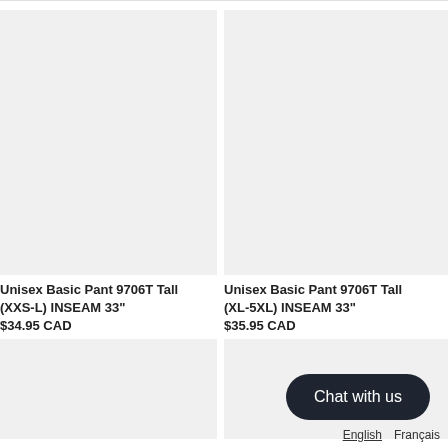[Figure (photo): Light gray placeholder image for product: Unisex Basic Pant 9706T Tall (XXS-L) INSEAM 33"]
Unisex Basic Pant 9706T Tall (XXS-L) INSEAM 33"
$34.95 CAD
[Figure (photo): Light gray placeholder image for product: Unisex Basic Pant 9706T Tall (XL-5XL) INSEAM 33"]
Unisex Basic Pant 9706T Tall (XL-5XL) INSEAM 33"
$35.95 CAD
[Figure (photo): Light gray placeholder image bottom left]
[Figure (photo): Light gray placeholder image bottom right]
Chat with us
English  Français